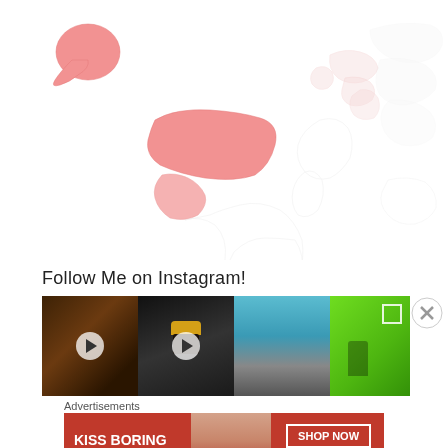[Figure (map): World map with North America (including Alaska) highlighted in pink/red, Europe and Asia shown in light pink outlines, rest of world in very light gray outlines]
Follow Me on Instagram!
[Figure (photo): Instagram feed strip showing three thumbnail images: a dark close-up video thumbnail, a person with yellow cap video thumbnail, and a person in green jeep photo. A close/X button is visible to the right.]
Advertisements
[Figure (infographic): Macy's advertisement banner with red background showing 'KISS BORING LIPS GOODBYE' text, a woman's face with red lips in center, and 'SHOP NOW' button with Macy's star logo on right]